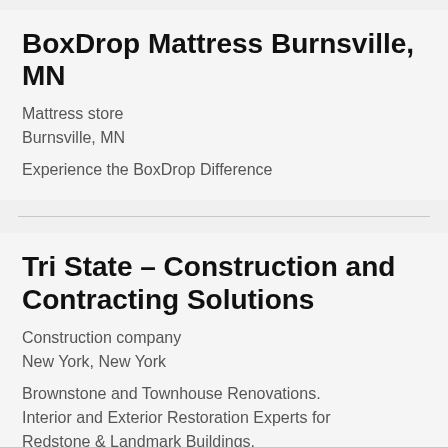BoxDrop Mattress Burnsville, MN
Mattress store
Burnsville, MN
Experience the BoxDrop Difference
Tri State – Construction and Contracting Solutions
Construction company
New York, New York
Brownstone and Townhouse Renovations. Interior and Exterior Restoration Experts for Redstone & Landmark Buildings.